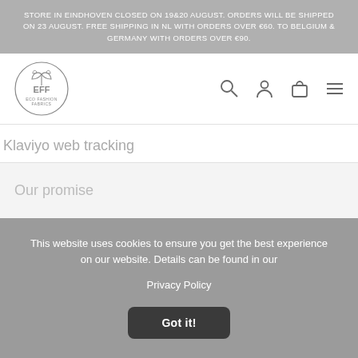STORE IN EINDHOVEN CLOSED ON 19&20 AUGUST. ORDERS WILL BE SHIPPED ON 23 AUGUST. FREE SHIPPING IN NL WITH ORDERS OVER €60. TO BELGIUM & GERMANY WITH ORDERS OVER €90.
[Figure (logo): Eco Fashion Fabrics (EFF) circular logo with leaf/plant motif]
[Figure (infographic): Navigation icons: search magnifying glass, user/account person, shopping bag, hamburger menu]
Klaviyo web tracking
Our promise
This website uses cookies to ensure you get the best experience on our website. Details can be found in our
Privacy Policy
Got it!